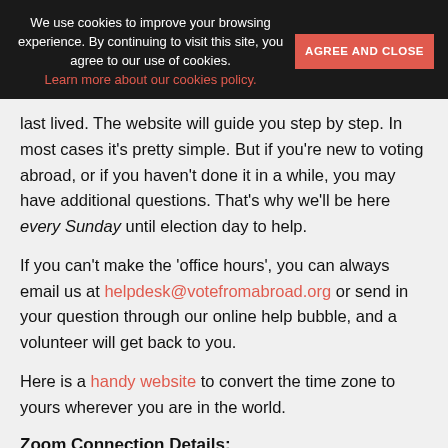We use cookies to improve your browsing experience. By continuing to visit this site, you agree to our use of cookies. Learn more about our cookies policy. AGREE AND CLOSE
last lived. The website will guide you step by step. In most cases it's pretty simple. But if you're new to voting abroad, or if you haven't done it in a while, you may have additional questions. That’s why we'll be here every Sunday until election day to help.
If you can't make the 'office hours', you can always email us at helpdesk@votefromabroad.org or send in your question through our online help bubble, and a volunteer will get back to you.
Here is a handy website to convert the time zone to yours wherever you are in the world.
Zoom Connection Details: